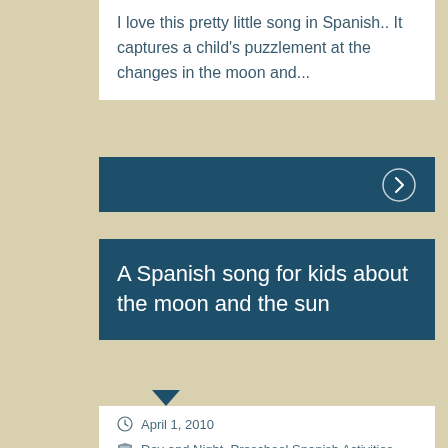I love this pretty little song in Spanish.. It captures a child's puzzlement at the changes in the moon and...
[Figure (other): Dark teal navigation bar with a circular arrow button (chevron right) on the right side]
A Spanish song for kids about the moon and the sun
April 1, 2010
Day and Night, Preschool Spanish Activities, Songs, Videos